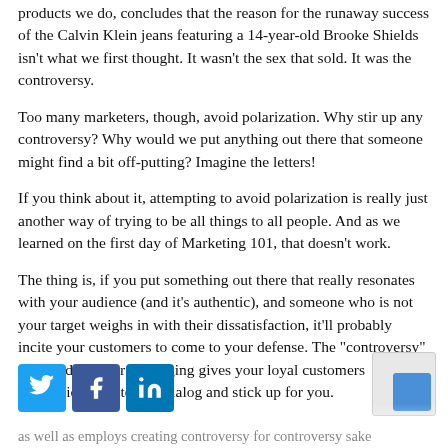products we do, concludes that the reason for the runaway success of the Calvin Klein jeans featuring a 14-year-old Brooke Shields isn't what we first thought. It wasn't the sex that sold. It was the controversy.
Too many marketers, though, avoid polarization. Why stir up any controversy? Why would we put anything out there that someone might find a bit off-putting? Imagine the letters!
If you think about it, attempting to avoid polarization is really just another way of trying to be all things to all people. And as we learned on the first day of Marketing 101, that doesn't work.
The thing is, if you put something out there that really resonates with your audience (and it's authentic), and someone who is not your target weighs in with their dissatisfaction, it'll probably incite your customers to come to your defense. The "controversy" surrounding your messaging gives your loyal customers permission to enter the dialog and stick up for you.
[Figure (other): Social media share buttons: Twitter (blue bird icon), Facebook (blue f icon), LinkedIn (blue in icon)]
as well as employs creating controversy for controversy sake